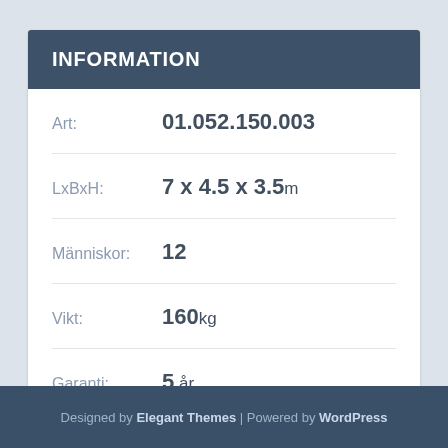INFORMATION
| Field | Value |
| --- | --- |
| Art: | 01.052.150.003 |
| LxBxH: | 7 x 4.5 x 3.5m |
| Människor: | 12 |
| Vikt: | 160kg |
| Garanti: | 5 år |
Designed by Elegant Themes | Powered by WordPress